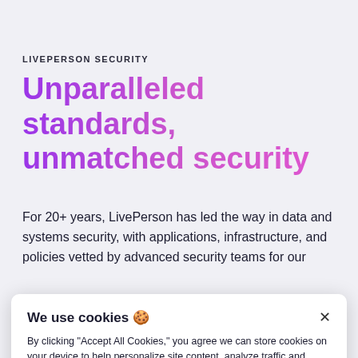LIVEPERSON SECURITY
Unparalleled standards, unmatched security
For 20+ years, LivePerson has led the way in data and systems security, with applications, infrastructure, and policies vetted by advanced security teams for our
We use cookies 🍪
By clicking "Accept All Cookies," you agree we can store cookies on your device to help personalize site content, analyze traffic and assist in our marketing to provide the best possible user experience.
To find out more, read our cookie policy.
Accept All Cookies